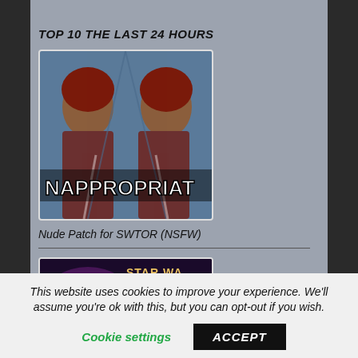TOP 10 THE LAST 24 HOURS
[Figure (screenshot): Gaming screenshot showing two mirrored female characters with text 'NAPPROPRIAT' overlaid in white bold font on a blue background]
Nude Patch for SWTOR (NSFW)
[Figure (screenshot): Star Wars: The Old Republic game logo/artwork with purple and gold tones, partially visible]
This website uses cookies to improve your experience. We'll assume you're ok with this, but you can opt-out if you wish.
Cookie settings
ACCEPT